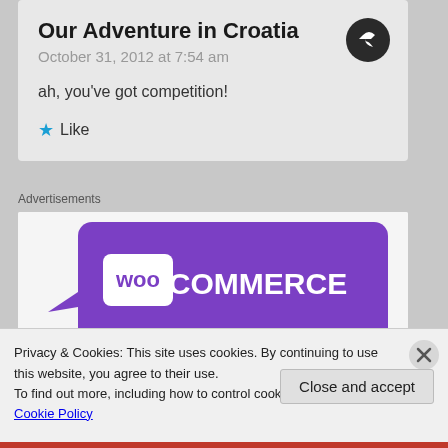Our Adventure in Croatia
October 31, 2012 at 7:54 am
ah, you've got competition!
★ Like
Advertisements
[Figure (illustration): WooCommerce advertisement banner with purple speech bubble logo on white background, teal triangle shape on left, blue shape on right, text 'How to start selling' partially visible at bottom]
Privacy & Cookies: This site uses cookies. By continuing to use this website, you agree to their use.
To find out more, including how to control cookies, see here: Cookie Policy
Close and accept